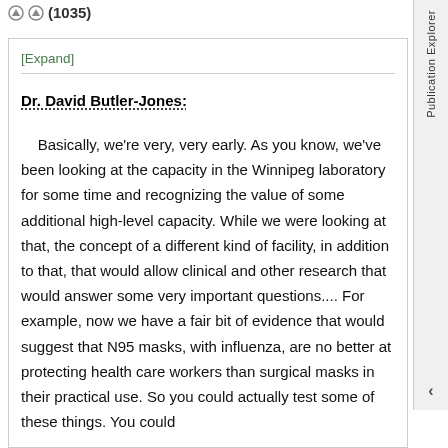⊙ ⊙ (1035)
[Expand]
Dr. David Butler-Jones:
Basically, we're very, very early. As you know, we've been looking at the capacity in the Winnipeg laboratory for some time and recognizing the value of some additional high-level capacity. While we were looking at that, the concept of a different kind of facility, in addition to that, that would allow clinical and other research that would answer some very important questions.... For example, now we have a fair bit of evidence that would suggest that N95 masks, with influenza, are no better at protecting health care workers than surgical masks in their practical use. So you could actually test some of these things. You could